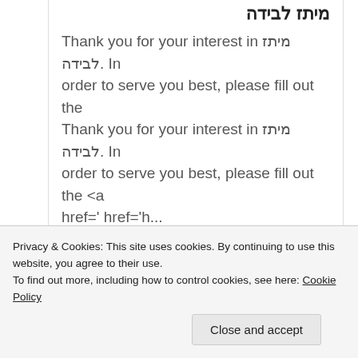מיתז לבידה
Thank you for your interest in מיתז לבידה. In order to serve you best, please fill out the Thank you for your interest in מיתז לבידה. In order to serve you best, please fill out the <a href=' href='h...
★ Tykkää
הכשרת ברמנים
Privacy & Cookies: This site uses cookies. By continuing to use this website, you agree to their use.
To find out more, including how to control cookies, see here: Cookie Policy
Close and accept